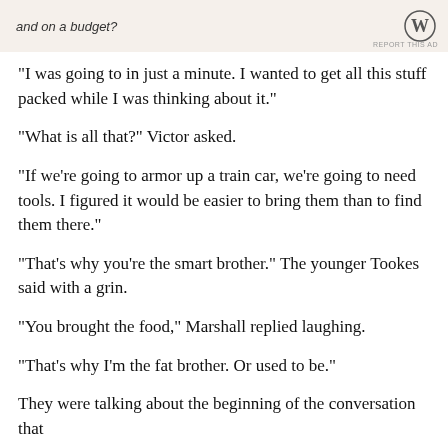[Figure (other): Advertisement banner with italic text 'and on a budget?' and WordPress logo, with 'REPORT THIS AD' small text at bottom right]
“I was going to in just a minute.  I wanted to get all this stuff packed while I was thinking about it.”
“What is all that?” Victor asked.
“If we’re going to armor up a train car, we’re going to need tools.  I figured it would be easier to bring them than to find them there.”
“That’s why you’re the smart brother.” The younger Tookes said with a grin.
“You brought the food,” Marshall replied laughing.
“That’s why I’m the fat brother.  Or used to be.”
They were talking about the beginning of the conversation that...